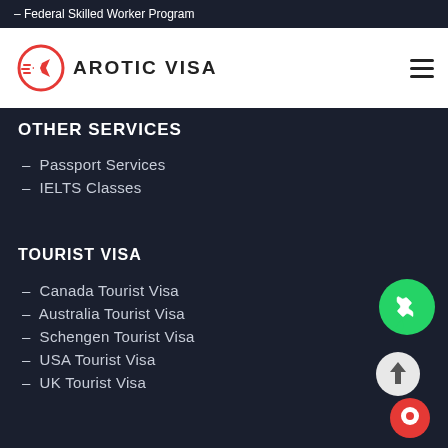Federal Skilled Worker Program
[Figure (logo): Arotic Visa logo with red circular arrow/plane icon and text AROTIC VISA]
OTHER SERVICES
Passport Services
IELTS Classes
TOURIST VISA
Canada Tourist Visa
Australia Tourist Visa
Schengen Tourist Visa
USA Tourist Visa
UK Tourist Visa
[Figure (logo): WhatsApp green circular button icon]
[Figure (other): Scroll to top button (light circle with up arrow) and red chat button]